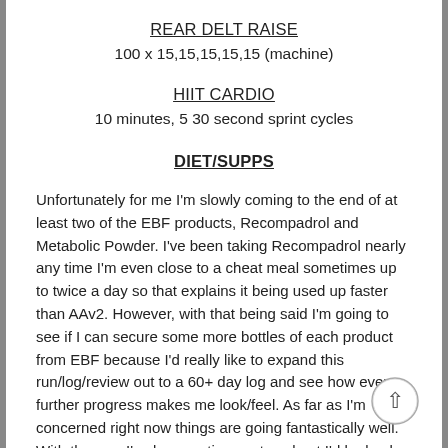REAR DELT RAISE
100 x 15,15,15,15,15 (machine)
HIIT CARDIO
10 minutes, 5 30 second sprint cycles
DIET/SUPPS
Unfortunately for me I'm slowly coming to the end of at least two of the EBF products, Recompadrol and Metabolic Powder. I've been taking Recompadrol nearly any time I'm even close to a cheat meal sometimes up to twice a day so that explains it being used up faster than AAv2. However, with that being said I'm going to see if I can secure some more bottles of each product from EBF because I'd really like to expand this run/log/review out to a 60+ day log and see how even further progress makes me look/feel. As far as I'm concerned right now things are going fantastically well. With the way I've been eating post workout I'd be back to my old form at 280lbs puffed up like a fat marshmallow man but thanks to EBF I'm sitting lean at 255, strong as hell and practically eating whatever it is I want. Can't complain